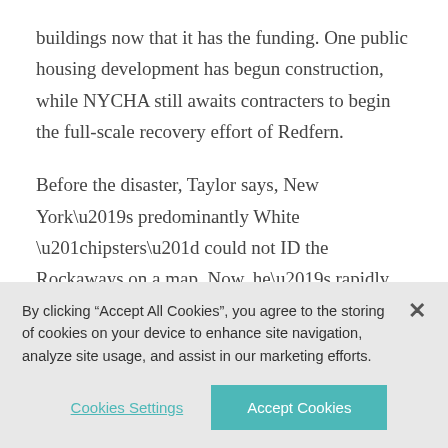buildings now that it has the funding. One public housing development has begun construction, while NYCHA still awaits contracters to begin the full-scale recovery effort of Redfern.
Before the disaster, Taylor says, New York’s predominantly White “hipsters” could not ID the Rockaways on a map. Now, he’s rapidly seeing an increase of this demographic. The Rockaways have
By clicking “Accept All Cookies”, you agree to the storing of cookies on your device to enhance site navigation, analyze site usage, and assist in our marketing efforts.